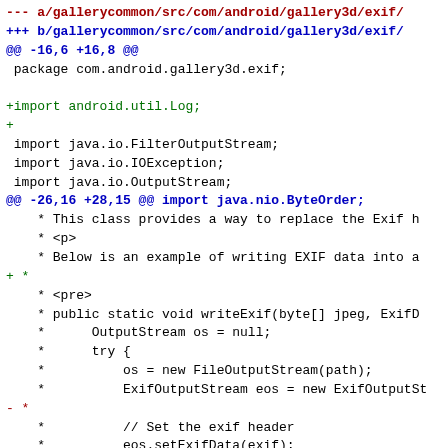--- a/gallerycommon/src/com/android/gallery3d/exif/
+++ b/gallerycommon/src/com/android/gallery3d/exif/
@@ -16,6 +16,8 @@
package com.android.gallery3d.exif;
+import android.util.Log;
+
import java.io.FilterOutputStream;
import java.io.IOException;
import java.io.OutputStream;
@@ -26,16 +28,15 @@ import java.nio.ByteOrder;
* This class provides a way to replace the Exif h
* <p>
* Below is an example of writing EXIF data into a
+ *
* <pre>
* public static void writeExif(byte[] jpeg, ExifD
*      OutputStream os = null;
*      try {
*          os = new FileOutputStream(path);
*          ExifOutputStream eos = new ExifOutputSt
- *
*          // Set the exif header
*          eos.setExifData(exif);
- *
*          // Write the original jpeg out, the hea
*          eos.write(jpeg);
*      } catch (FileNotFoundException e) {
@@ -54,8 +55,9 @@ import java.nio.ByteOrder;